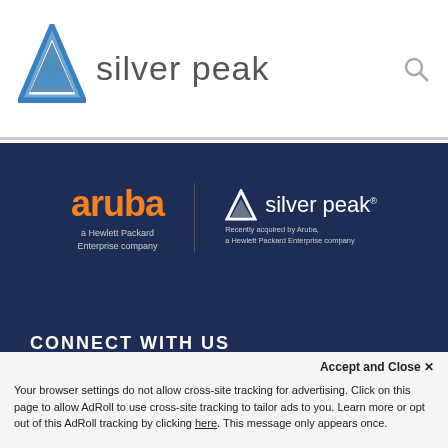[Figure (logo): Silver Peak logo with triangular icon in blue/grey and text 'silver peak' in grey]
[Figure (logo): Aruba logo and Silver Peak logo side by side on dark navy background. Aruba in orange with 'a Hewlett Packard Enterprise company' subtitle. Silver peak in white with triangular icon and 'Recently acquired by Aruba, a Hewlett Packard Enterprise company' subtitle.]
CONNECT WITH US
This site uses cookies. While some cookies are required for the site to function, you can enable other non-essential cookies that will personalise and enhance your experience. To learn more, please visit our Privacy Statement.
Accept and Close ✕
Your browser settings do not allow cross-site tracking for advertising. Click on this page to allow AdRoll to use cross-site tracking to tailor ads to you. Learn more or opt out of this AdRoll tracking by clicking here. This message only appears once.